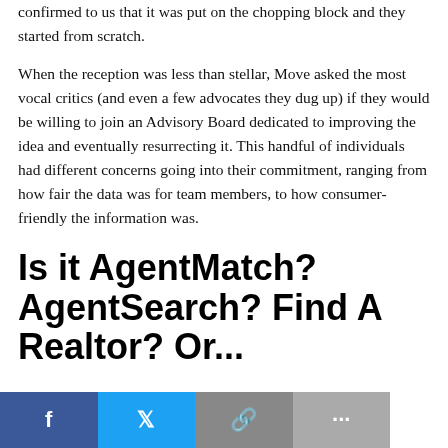confirmed to us that it was put on the chopping block and they started from scratch.
When the reception was less than stellar, Move asked the most vocal critics (and even a few advocates they dug up) if they would be willing to join an Advisory Board dedicated to improving the idea and eventually resurrecting it. This handful of individuals had different concerns going into their commitment, ranging from how fair the data was for team members, to how consumer-friendly the information was.
Is it AgentMatch? AgentSearch? Find A Realtor? Or...